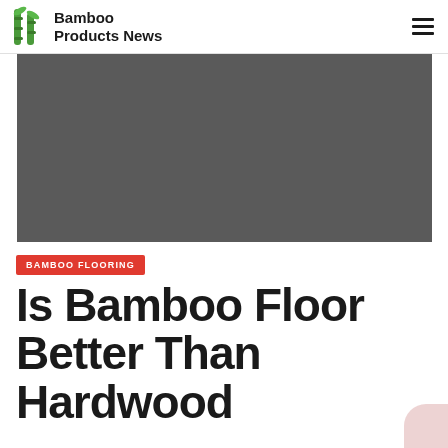Bamboo Products News
[Figure (photo): Large dark gray hero image placeholder for a bamboo flooring article]
BAMBOO FLOORING
Is Bamboo Floor Better Than Hardwood